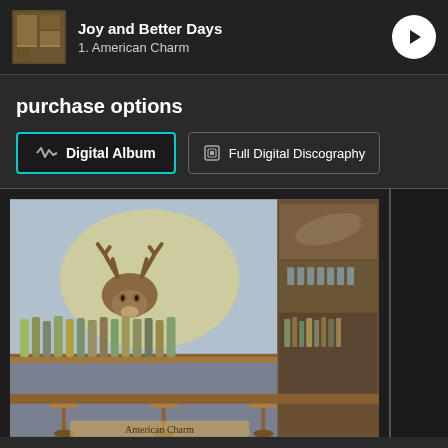Joy and Better Days
1. American Charm
purchase options
Digital Album
Full Digital Discography
[Figure (illustration): Painting of an old-fashioned bar with wooden shelves stocked with bottles, a mounted deer head on the wall, a fish on the top shelf, bar stools at the bottom, and text at the bottom reading 'American Charm']